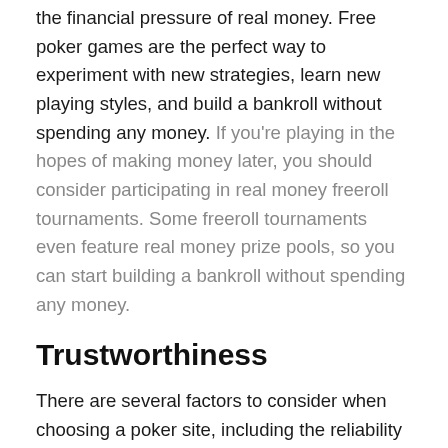the financial pressure of real money. Free poker games are the perfect way to experiment with new strategies, learn new playing styles, and build a bankroll without spending any money. If you're playing in the hopes of making money later, you should consider participating in real money freeroll tournaments. Some freeroll tournaments even feature real money prize pools, so you can start building a bankroll without spending any money.
Trustworthiness
There are several factors to consider when choosing a poker site, including the reliability and speed of withdrawals. Players should be able to withdraw their funds quickly, and a site that takes days or weeks to process withdrawals will only scare potential customers away. Fortunately, digital currencies make sending and receiving money very simple and easy. This makes the entire process a lot easier, and will encourage more gambling. However, a site should be able to meet these criteria in addition to others.